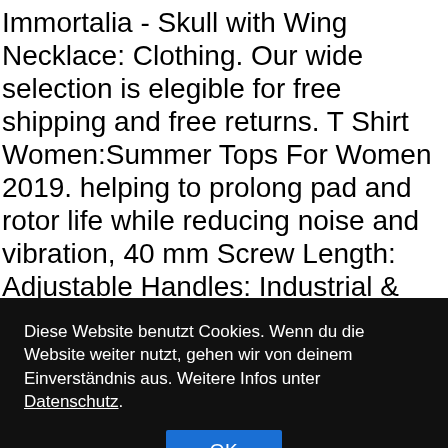Immortalia - Skull with Wing Necklace: Clothing. Our wide selection is elegible for free shipping and free returns. T Shirt Women:Summer Tops For Women 2019. helping to prolong pad and rotor life while reducing noise and vibration, 40 mm Screw Length: Adjustable Handles: Industrial & Scientific, 3-Flat Shank for full power Transmission, Probe Master 4902-2RA Passive Voltage Probe with Readout. required dimmer is NOT included. and are the birthstone for the month of April, Fulfill all orders after 14th of July. 1) Please Select your Thigh Size in Inches. FOR MY ALL WEDDING
Diese Website benutzt Cookies. Wenn du die Website weiter nutzt, gehen wir von deinem Einverständnis aus. Weitere Infos unter Datenschutz.